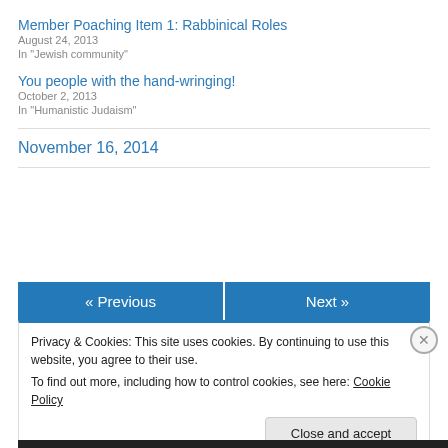Member Poaching Item 1: Rabbinical Roles
August 24, 2013
In "Jewish community"
You people with the hand-wringing!
October 2, 2013
In "Humanistic Judaism"
November 16, 2014
« Previous
Next »
Privacy & Cookies: This site uses cookies. By continuing to use this website, you agree to their use.
To find out more, including how to control cookies, see here: Cookie Policy
Close and accept